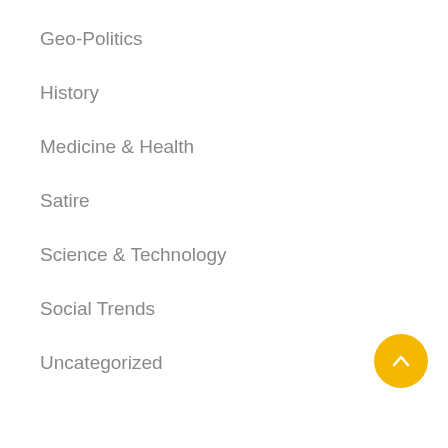Geo-Politics
History
Medicine & Health
Satire
Science & Technology
Social Trends
Uncategorized
Meta
Log in
Entries RSS
Comments RSS